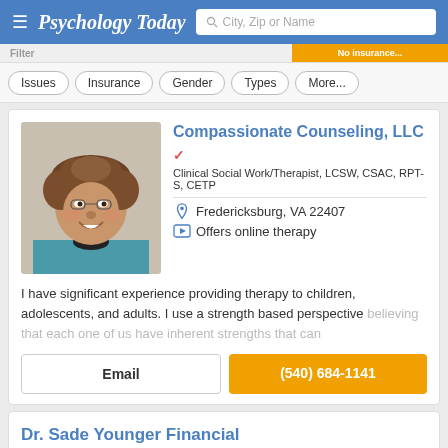Psychology Today — City, Zip or Name search
Issues
Insurance
Gender
Types
More...
Compassionate Counseling, LLC
Clinical Social Work/Therapist, LCSW, CSAC, RPT-S, CETP
Fredericksburg, VA 22407
Offers online therapy
I have significant experience providing therapy to children, adolescents, and adults. I use a strength based perspective believing that each one of us have inherent strengths that can
Email
(540) 684-1141
Dr. Sade Younger Financial Therapist